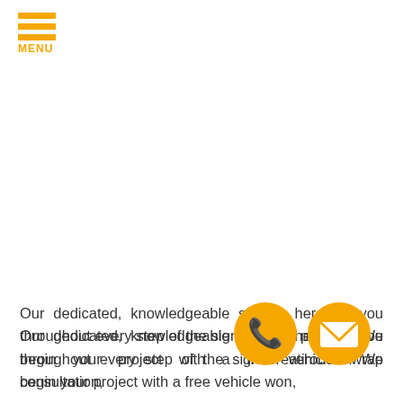MENU
Our dedicated, knowledgeable staff is here for you throughout every step of the sign creation process. We begin your project with a free vehicle wrap consultation,
[Figure (illustration): Orange phone icon circle button]
[Figure (illustration): Orange email/envelope icon circle button]